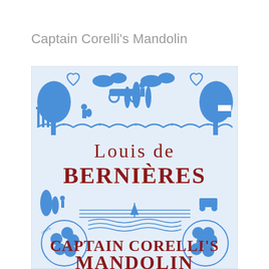Captain Corelli's Mandolin
[Figure (illustration): Book cover of 'Captain Corelli's Mandolin' by Louis de Bernières. Blue and white decorative folk-art style illustration featuring trees, figures, clouds, hearts, grapevines, and a seascape. The author name 'Louis de Bernières' is printed in dark red serif font in the upper-center of the cover, and 'CAPTAIN CORELLI'S MANDOLIN' is printed in large dark red serif capitals near the bottom.]